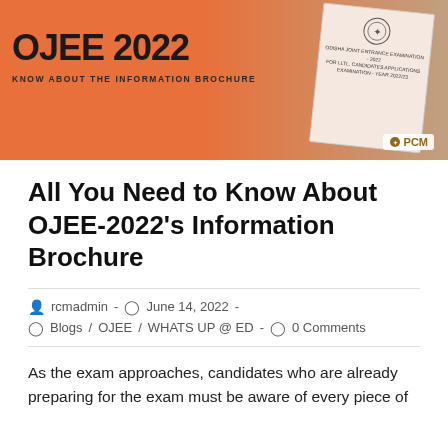[Figure (infographic): OJEE 2022 banner with orange gradient background. Large bold text reads 'OJEE 2022' and below it 'KNOW ABOUT THE INFORMATION BROCHURE'. A tilted brochure card is shown on the right side with a PCM badge in the bottom right corner.]
All You Need to Know About OJEE-2022’s Information Brochure
rcmadmin  -  June 14, 2022  -
Blogs / OJEE / WHATS UP @ ED  -  0 Comments
As the exam approaches, candidates who are already preparing for the exam must be aware of every piece of